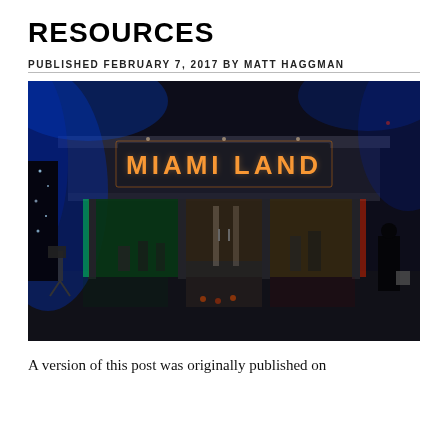RESOURCES
PUBLISHED FEBRUARY 7, 2017 BY MATT HAGGMAN
[Figure (photo): Nighttime exterior photo of a building entrance with illuminated orange 'MIAMI LAND' sign above glass doors, with colorful lighting (blue, green, red) visible inside and outside]
A version of this post was originally published on